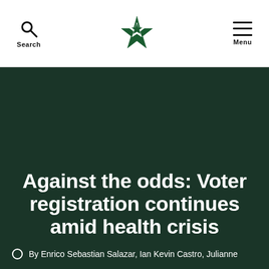Search | [logo] | Menu
Against the odds: Voter registration continues amid health crisis
By Enrico Sebastian Salazar, Ian Kevin Castro, Julianne